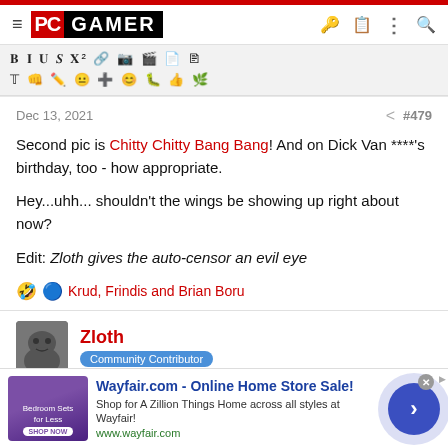PC GAMER
[Figure (screenshot): Toolbar with emoji/formatting icons on grey background]
Dec 13, 2021   #479
Second pic is Chitty Chitty Bang Bang! And on Dick Van ****'s birthday, too - how appropriate.

Hey...uhh... shouldn't the wings be showing up right about now?

Edit: Zloth gives the auto-censor an evil eye
🤣 🔵 Krud, Frindis and Brian Boru
Zloth — Community Contributor
[Figure (photo): Sloth avatar image]
[Figure (screenshot): Wayfair advertisement banner: Wayfair.com - Online Home Store Sale! Shop for A Zillion Things Home across all styles at Wayfair! www.wayfair.com]